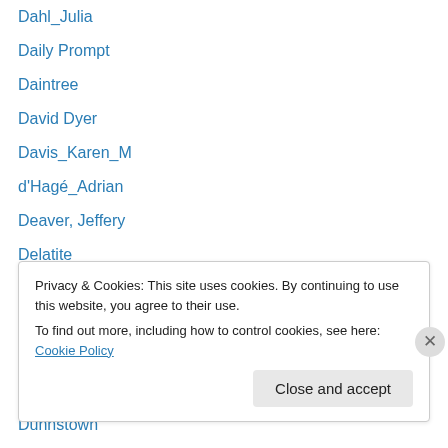Dahl_Julia
Daily Prompt
Daintree
David Dyer
Davis_Karen_M
d'Hagé_Adrian
Deaver, Jeffery
Delatite
Denali National Park
Dog Rocks
Dover
Dubai
Dunnstown
Privacy & Cookies: This site uses cookies. By continuing to use this website, you agree to their use.
To find out more, including how to control cookies, see here: Cookie Policy
Close and accept